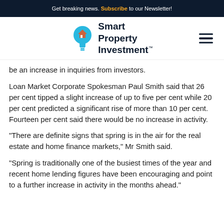Get breaking news. Subscribe to our Newsletter!
[Figure (logo): Smart Property Investment logo with lightbulb icon]
be an increase in inquiries from investors.
Loan Market Corporate Spokesman Paul Smith said that 26 per cent tipped a slight increase of up to five per cent while 20 per cent predicted a significant rise of more than 10 per cent. Fourteen per cent said there would be no increase in activity.
"There are definite signs that spring is in the air for the real estate and home finance markets," Mr Smith said.
"Spring is traditionally one of the busiest times of the year and recent home lending figures have been encouraging and point to a further increase in activity in the months ahead."